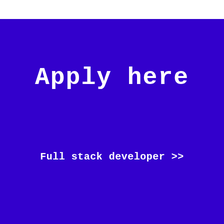Apply here
Full stack developer >>